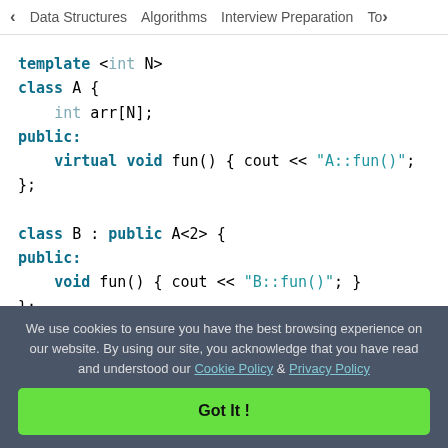< Data Structures   Algorithms   Interview Preparation   To>
template <int N>
class A {
    int arr[N];
public:
    virtual void fun() { cout << "A::fun()";
};

class B : public A<2> {
public:
    void fun() { cout << "B::fun()"; }
};

class C : public B { };
We use cookies to ensure you have the best browsing experience on our website. By using our site, you acknowledge that you have read and understood our Cookie Policy & Privacy Policy
Got It !